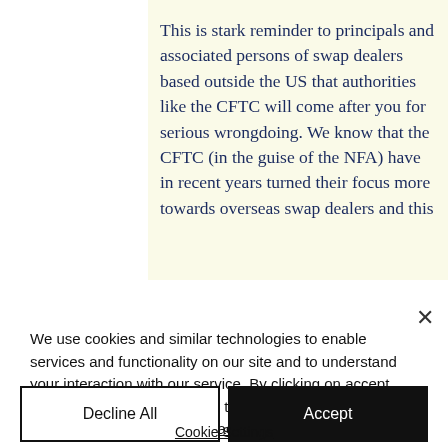This is stark reminder to principals and associated persons of swap dealers based outside the US that authorities like the CFTC will come after you for serious wrongdoing. We know that the CFTC (in the guise of the NFA) have in recent years turned their focus more towards overseas swap dealers and this
We use cookies and similar technologies to enable services and functionality on our site and to understand your interaction with our service. By clicking on accept, you agree to our use of such technologies for marketing and analytics. Read our Privacy Policy